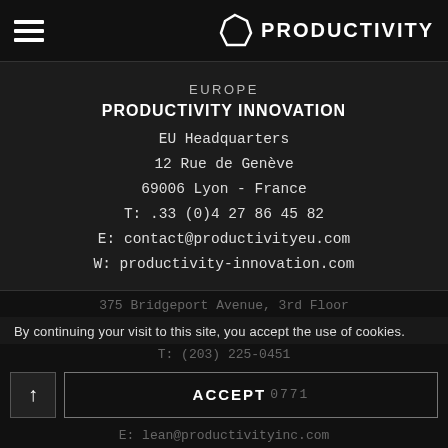PRODUCTIVITY
EUROPE
PRODUCTIVITY INNOVATION
EU Headquarters
12 Rue de Genève
69006 Lyon - France
T: .33 (0)4 27 86 45 82
E: contact@productivityeu.com
W: productivity-innovation.com
NORTH AMERICA & ASIA
PRODUCTIVITY INC.
US Headquarters
375 Bridgeport Avenue, 3rd Floor
T: (203) 225-0451
F: (2...0771
E: lean@productivityinc.com
By continuing your visit to this site, you accept the use of cookies.
ACCEPT